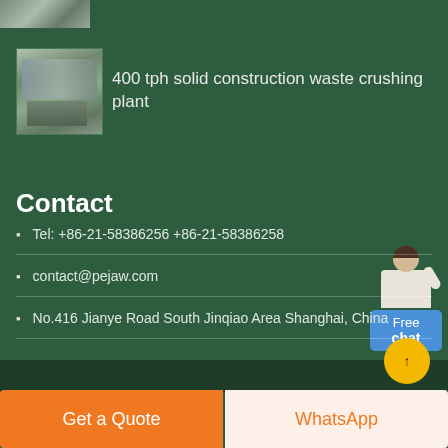[Figure (photo): Small thumbnail of industrial/construction site at top left]
[Figure (photo): Thumbnail image of 400 tph solid construction waste crushing plant]
400 tph solid construction waste crushing plant
Contact
Tel: +86-21-58386256 +86-21-58386258
contact@pejaw.com
No.416 Jianye Road South Jinqiao Area Shanghai, China
[Figure (illustration): Free chat widget with agent figure and blue box saying Free chat]